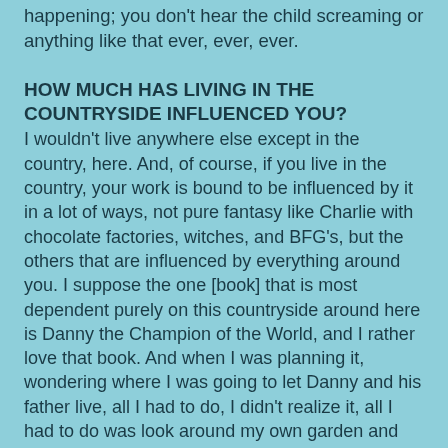happening; you don't hear the child screaming or anything like that ever, ever, ever.
HOW MUCH HAS LIVING IN THE COUNTRYSIDE INFLUENCED YOU?
I wouldn't live anywhere else except in the country, here. And, of course, if you live in the country, your work is bound to be influenced by it in a lot of ways, not pure fantasy like Charlie with chocolate factories, witches, and BFG's, but the others that are influenced by everything around you. I suppose the one [book] that is most dependent purely on this countryside around here is Danny the Champion of the World, and I rather love that book. And when I was planning it, wondering where I was going to let Danny and his father live, all I had to do, I didn't realize it, all I had to do was look around my own garden and there it was.
ROALD DAHL ON THE SUBJECT OF CHOCOLATE:
In the seven years of this glorious and golden decade [the 1930s], all the great classic chocolates were invented: the Crunchie, the Whole Nut bar, the Mars bar, the Black Magic assortment, Tiffin, Caramello, Aero, Malteser, the Quality Street assortment, Kit-Kat, Polo, and Smarties. In music the